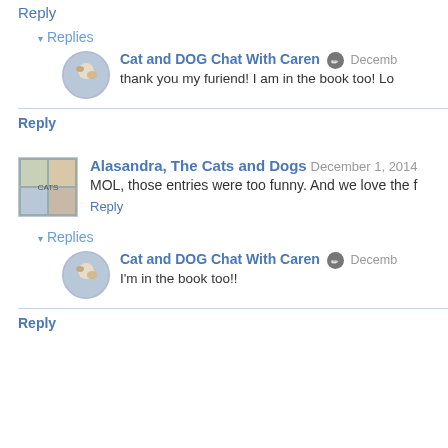Reply
▾ Replies
Cat and DOG Chat With Caren  Decemb...
thank you my furiend! I am in the book too! Lo...
Reply
Alasandra, The Cats and Dogs  December 1, 2014
MOL, those entries were too funny. And we love the f...
Reply
▾ Replies
Cat and DOG Chat With Caren  Decemb...
I'm in the book too!!
Reply